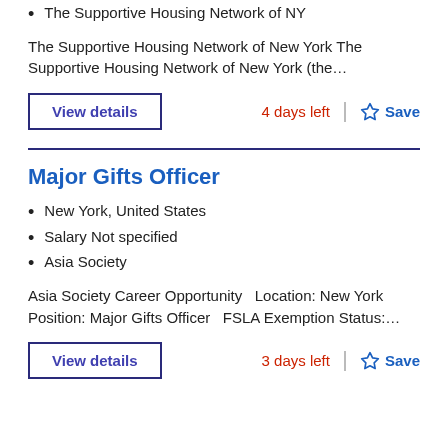The Supportive Housing Network of NY
The Supportive Housing Network of New York The Supportive Housing Network of New York (the…
View details   4 days left   Save
Major Gifts Officer
New York, United States
Salary Not specified
Asia Society
Asia Society Career Opportunity   Location: New York Position: Major Gifts Officer   FSLA Exemption Status:…
View details   3 days left   Save